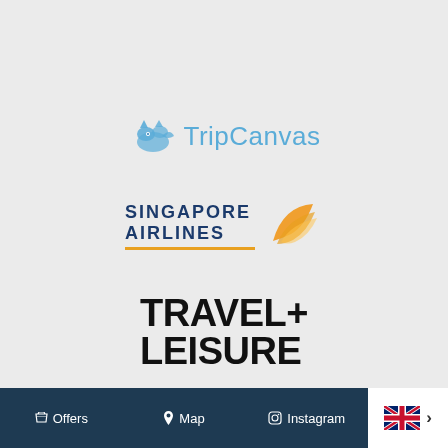[Figure (logo): TripCanvas logo with blue bird/fox icon and 'TripCanvas' text in blue]
[Figure (logo): Singapore Airlines logo with orange bird wing mark and dark blue text 'SINGAPORE AIRLINES' with orange underline]
[Figure (logo): Travel + Leisure logo in bold black text, two lines: 'TRAVEL+' and 'LEISURE']
Offers  Map  Instagram  [UK flag] >